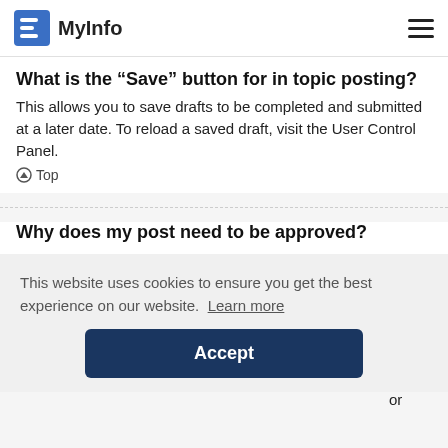MyInfo
What is the “Save” button for in topic posting?
This allows you to save drafts to be completed and submitted at a later date. To reload a saved draft, visit the User Control Panel.
▲ Top
Why does my post need to be approved?
The board administrator may have decided that posts in the forum you are posting to require review before submission.
This website uses cookies to ensure you get the best experience on our website. Learn more
Accept